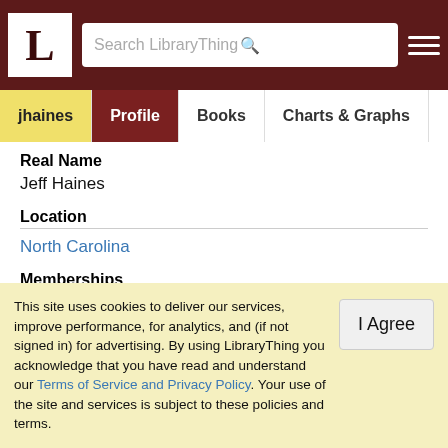LibraryThing — Search LibraryThing header with logo
jhaines | Profile | Books | Charts & Graphs | Reviews | G
Real Name
Jeff Haines
Location
North Carolina
Memberships
LibraryThing Early Reviewers
Also On
(partially visible link)
This site uses cookies to deliver our services, improve performance, for analytics, and (if not signed in) for advertising. By using LibraryThing you acknowledge that you have read and understand our Terms of Service and Privacy Policy. Your use of the site and services is subject to these policies and terms.